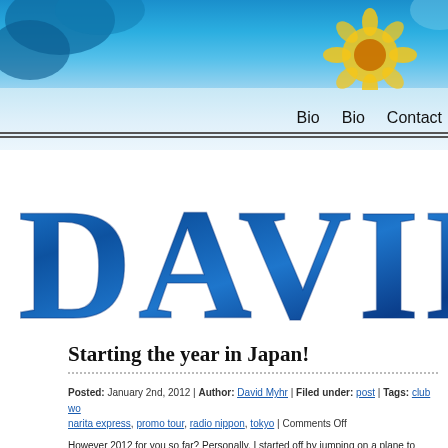[Figure (photo): Website header banner with blue sky and sunflower illustration background]
Bio   Bio   Contact
[Figure (logo): Large glittery blue text spelling DAVID as a website logo]
Starting the year in Japan!
Posted: January 2nd, 2012 | Author: David Myhr | Filed under: post | Tags: club wo, narita express, promo tour, radio nippon, tokyo | Comments Off
However 2012 for you so far? Personally, I started off by jumping on a plane to...